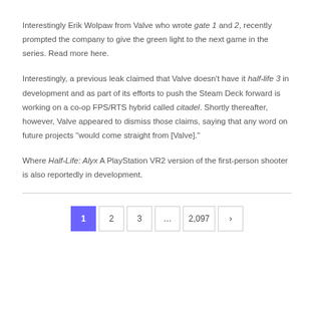Interestingly Erik Wolpaw from Valve who wrote gate 1 and 2, recently prompted the company to give the green light to the next game in the series. Read more here.
Interestingly, a previous leak claimed that Valve doesn't have it half-life 3 in development and as part of its efforts to push the Steam Deck forward is working on a co-op FPS/RTS hybrid called citadel. Shortly thereafter, however, Valve appeared to dismiss those claims, saying that any word on future projects "would come straight from [Valve]."
Where Half-Life: Alyx A PlayStation VR2 version of the first-person shooter is also reportedly in development.
1 2 3 ... 2,097 ›